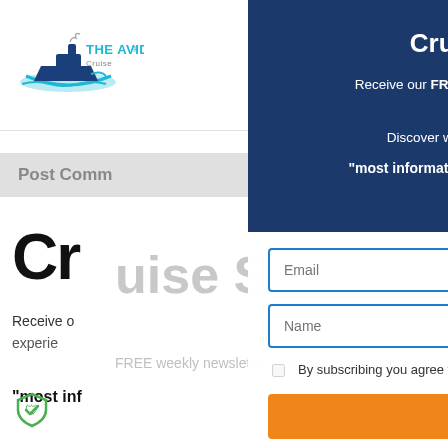[Figure (logo): The Avid Cruiser logo with ship graphic and cyan text]
[Figure (infographic): Hamburger menu icon and circular user icon in top right navigation]
Post Comm
Cruise Smarter
Receive our FREE weekly newsletter to enrich your experiences.
Discover why one reader calls ours the “most informational and interesting travel newsletter of its kind.”
Email
Name
By subscribing you agree to our Terms & Privacy p
SUBSCRIBE
Cr
Receive o
"most inf
its kind.